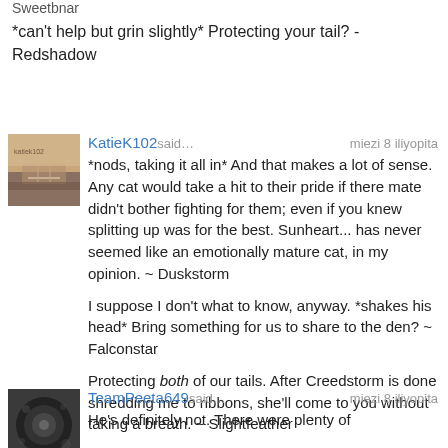Sweetbnar
*can't help but grin slightly* Protecting your tail? -Redshadow
KatieK102 said… miezi 8 iliyopita
*nods, taking it all in* And that makes a lot of sense. Any cat would take a hit to their pride if there mate didn't bother fighting for them; even if you knew splitting up was for the best. Sunheart... has never seemed like an emotionally mature cat, in my opinion. ~ Duskstorm

I suppose I don't what to know, anyway. *shakes his head* Bring something for us to share to the den? ~ Falconstar

Protecting both of our tails. After Creedstorm is done shredding me to ribbons, she'll come to you without taking a breath. ~ Slightfeather
TeamPeeta649 said… miezi 8 iliyopita
He's definitely not. There were plenty of